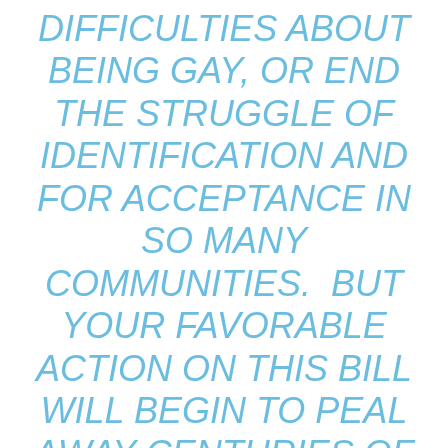DIFFICULTIES ABOUT BEING GAY, OR END THE STRUGGLE OF IDENTIFICATION AND FOR ACCEPTANCE IN SO MANY COMMUNITIES.  BUT YOUR FAVORABLE ACTION ON THIS BILL WILL BEGIN TO PEAL AWAY CENTURIES OF UNJUST TREATMENT ON THE BASIS OF SOMETHING AS ESSENTIAL TO OUR EXISTENCE AS OUR GENDER, AS OUR ETHNICITY, AND AS OUR RACE.  AND, IF YOU KNOW ME WELL, THAT STATEMENT SHOULD CARRY SOME WEIGHT BECAUSE, TO MANY, BEING GREEK IS